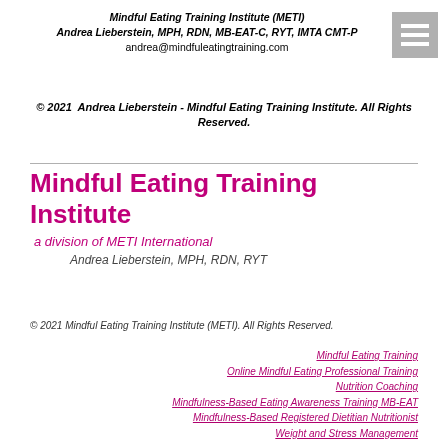Mindful Eating Training Institute (METI)
Andrea Lieberstein, MPH, RDN, MB-EAT-C, RYT, IMTA CMT-P
andrea@mindfuleatingtraining.com
© 2021  Andrea Lieberstein - Mindful Eating Training Institute. All Rights Reserved.
Mindful Eating Training Institute
a division of METI International
Andrea Lieberstein, MPH, RDN, RYT
© 2021 Mindful Eating Training Institute (METI). All Rights Reserved.
Mindful Eating Training
Online Mindful Eating Professional Training
Nutrition Coaching
Mindfulness-Based Eating Awareness Training MB-EAT
Mindfulness-Based Registered Dietitian Nutritionist
Weight and Stress Management